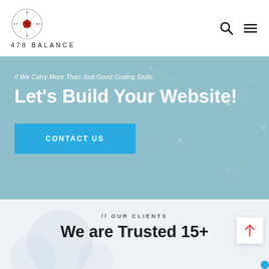[Figure (logo): 478 Balance circular logo with compass/snowflake design in red, and text '478 BALANCE' below]
[Figure (infographic): Hero banner with light blue background and tech network pattern overlay]
// We Carry More Than Just Good Coding Skills
Let's Build Your Website!
CONTACT US
// OUR CLIENTS
We are Trusted 15+